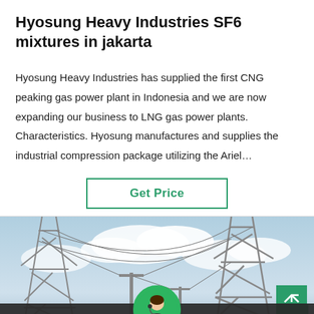Hyosung Heavy Industries SF6 mixtures in jakarta
Hyosung Heavy Industries has supplied the first CNG peaking gas power plant in Indonesia and we are now expanding our business to LNG gas power plants. Characteristics. Hyosung manufactures and supplies the industrial compression package utilizing the Ariel…
[Figure (other): Green-bordered button labeled 'Get Price']
[Figure (photo): Electrical substation with large steel transmission towers and cables under a partly cloudy sky]
Leave Message   Chat Online